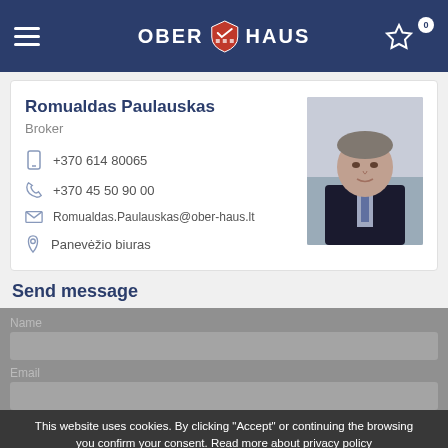OBER HAUS
Romualdas Paulauskas
Broker
+370 614 80065
+370 45 50 90 00
Romualdas.Paulauskas@ober-haus.lt
Panevėžio biuras
[Figure (photo): Professional headshot of Romualdas Paulauskas, a middle-aged man in a dark suit]
Send message
Name
Email
This website uses cookies. By clicking "Accept" or continuing the browsing you confirm your consent. Read more about privacy policy
I agree